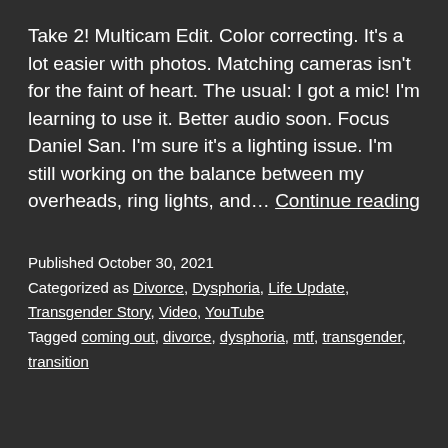Take 2! Multicam Edit. Color correcting. It's a lot easier with photos. Matching cameras isn't for the faint of heart. The usual: I got a mic! I'm learning to use it. Better audio soon. Focus Daniel San. I'm sure it's a lighting issue. I'm still working on the balance between my overheads, ring lights, and… Continue reading
Published October 30, 2021
Categorized as Divorce, Dysphoria, Life Update, Transgender Story, Video, YouTube
Tagged coming out, divorce, dysphoria, mtf, transgender, transition